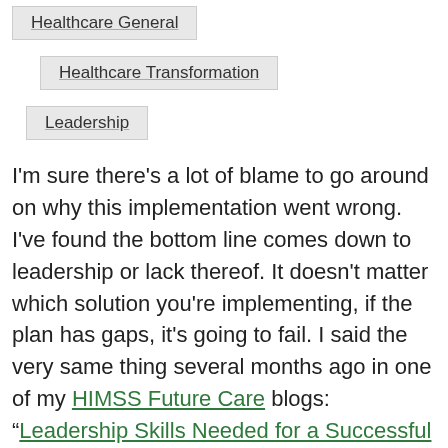Healthcare General
Healthcare Transformation
Leadership
I'm sure there's a lot of blame to go around on why this implementation went wrong. I've found the bottom line comes down to leadership or lack thereof. It doesn't matter which solution you're implementing, if the plan has gaps, it's going to fail. I said the very same thing several months ago in one of my HIMSS Future Care blogs: “Leadership Skills Needed for a Successful Data Enablement Transformation”. @enabledhealth